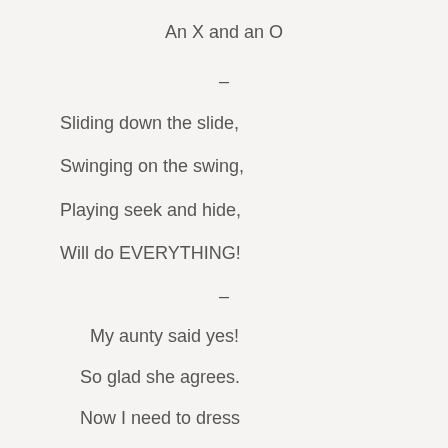An X and an O
–
Sliding down the slide,
Swinging on the swing,
Playing seek and hide,
Will do EVERYTHING!
–
My aunty said yes!
So glad she agrees.
Now I need to dress